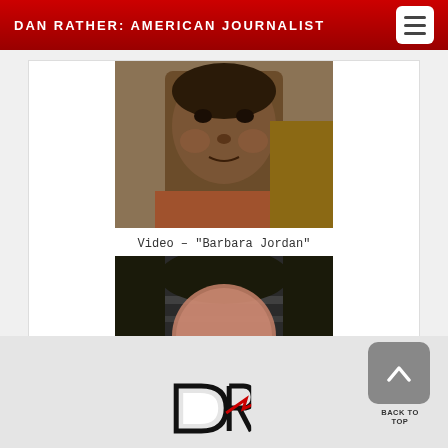DAN RATHER: AMERICAN JOURNALIST
[Figure (photo): Black and white/sepia photograph of Barbara Jordan, an older African American woman looking at the camera]
Video - "Barbara Jordan"
[Figure (photo): Video thumbnail showing a person with glasses, blurred/low quality image]
[Figure (logo): Dan Rather Reports logo at bottom of page]
BACK TO TOP